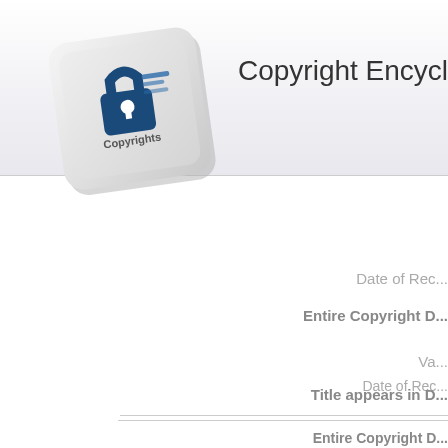[Figure (logo): Copyright key logo - a keyboard key with a padlock and document icon, labeled 'Copyrights']
Copyright Encyclopedia
Date of Rec...
Entire Copyright D...
Va...
Title appears in D...
Documen...
Date of Rec...
Entire Copyright D...
Date of E...